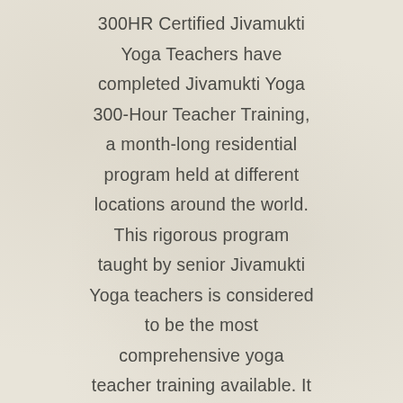300HR Certified Jivamukti Yoga Teachers have completed Jivamukti Yoga 300-Hour Teacher Training, a month-long residential program held at different locations around the world. This rigorous program taught by senior Jivamukti Yoga teachers is considered to be the most comprehensive yoga teacher training available. It attracts students from around the world and produces empowered, informed and confident yoga teachers. The training